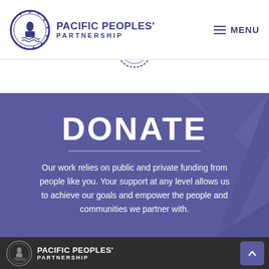Pacific Peoples' Partnership — MENU
[Figure (logo): Pacific Peoples' Partnership circular seal logo in blue, partially visible]
DONATE
Our work relies on public and private funding from people like you. Your support at any level allows us to achieve our goals and empower the people and communities we partner with.
Pacific Peoples' Partnership logo in footer (dark background)